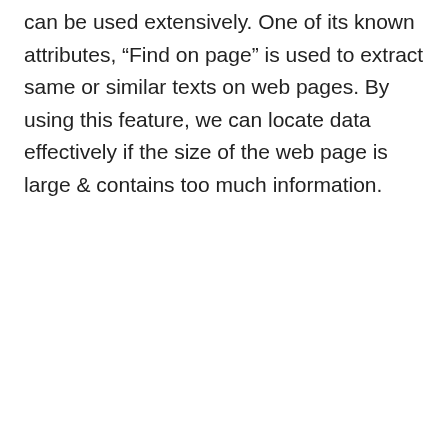can be used extensively. One of its known attributes, “Find on page” is used to extract same or similar texts on web pages. By using this feature, we can locate data effectively if the size of the web page is large & contains too much information.